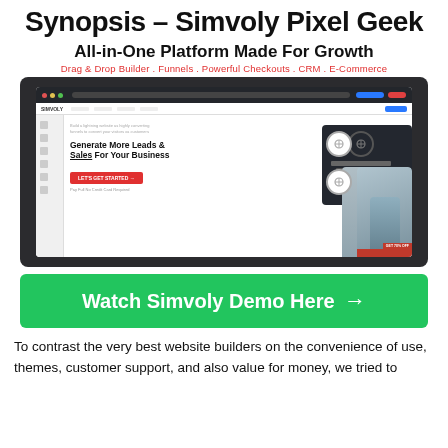Synopsis – Simvoly Pixel Geek
All-in-One Platform Made For Growth
Drag & Drop Builder . Funnels . Powerful Checkouts . CRM . E-Commerce
[Figure (screenshot): Screenshot of Simvoly platform on a dark laptop/monitor frame, showing the Simvoly website builder interface with headline 'Generate More Leads & Sales For Your Business', a red CTA button, and a man standing next to a dark panel with interface elements]
[Figure (other): Green CTA button reading 'Watch Simvoly Demo Here →']
To contrast the very best website builders on the convenience of use, themes, customer support, and also value for money, we tried to